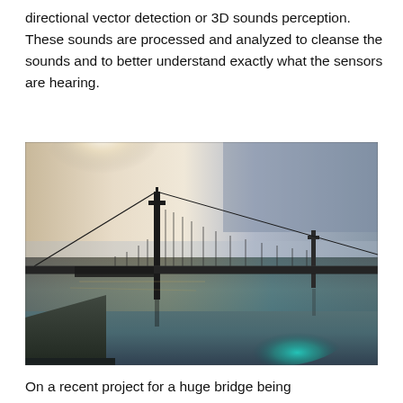directional vector detection or 3D sounds perception. These sounds are processed and analyzed to cleanse the sounds and to better understand exactly what the sensors are hearing.
[Figure (photo): A suspension bridge photographed at dusk or dawn over calm water. The scene has a moody, long-exposure quality with a glowing sky transitioning from warm white-gold on the left to cool gray-blue on the right. The bridge towers are reflected in the still water below, and teal-blue light glows in the water in the foreground.]
On a recent project for a huge bridge being